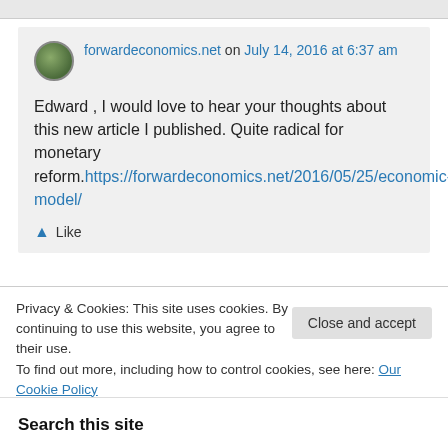forwarwardeconomics.net on July 14, 2016 at 6:37 am
Edward , I would love to hear your thoughts about this new article I published. Quite radical for monetary reform.https://forwardeconomics.net/2016/05/25/economic-model/
Like
Privacy & Cookies: This site uses cookies. By continuing to use this website, you agree to their use. To find out more, including how to control cookies, see here: Our Cookie Policy
Close and accept
Search this site